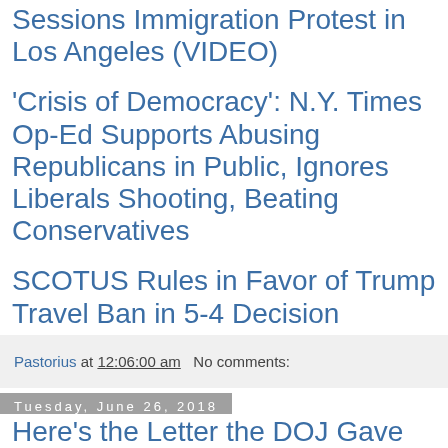Sessions Immigration Protest in Los Angeles (VIDEO)
'Crisis of Democracy': N.Y. Times Op-Ed Supports Abusing Republicans in Public, Ignores Liberals Shooting, Beating Conservatives
SCOTUS Rules in Favor of Trump Travel Ban in 5-4 Decision
Pastorius at 12:06:00 am   No comments:
Tuesday, June 26, 2018
Here's the Letter the DOJ Gave